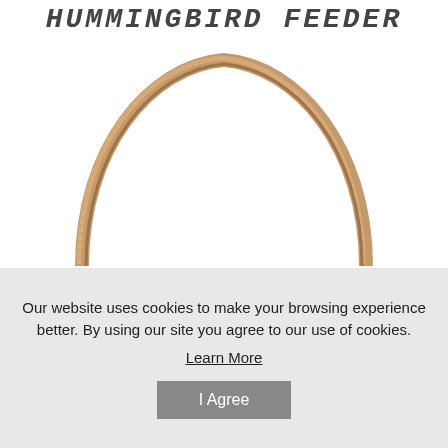HUMMINGBIRD FEEDER
[Figure (illustration): An arch/curve shape rendered in a bronze/copper metallic color, showing just the top arc portion of what appears to be a hummingbird feeder handle or frame against a white background.]
Our website uses cookies to make your browsing experience better. By using our site you agree to our use of cookies.
Learn More
I Agree